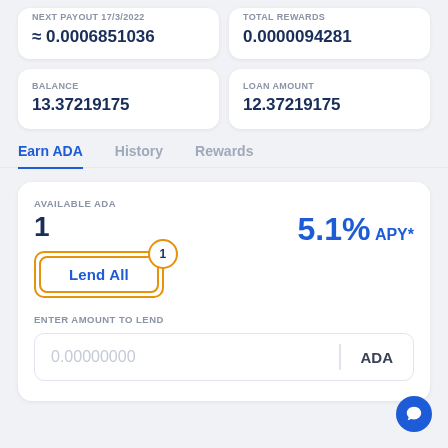NEXT PAYOUT 17/3/2022
≈ 0.0006851036
TOTAL REWARDS
0.0000094281
BALANCE
13.37219175
LOAN AMOUNT
12.37219175
Earn ADA
History
Rewards
AVAILABLE ADA
1
5.1% APY*
Lend All
ENTER AMOUNT TO LEND
0.00000000
ADA